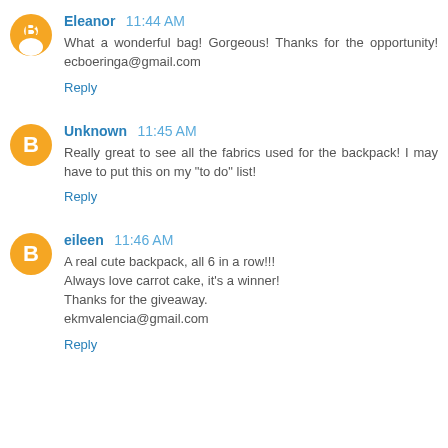Eleanor 11:44 AM
What a wonderful bag! Gorgeous! Thanks for the opportunity! ecboeringa@gmail.com
Reply
Unknown 11:45 AM
Really great to see all the fabrics used for the backpack! I may have to put this on my "to do" list!
Reply
eileen 11:46 AM
A real cute backpack, all 6 in a row!!!
Always love carrot cake, it's a winner!
Thanks for the giveaway.
ekmvalencia@gmail.com
Reply